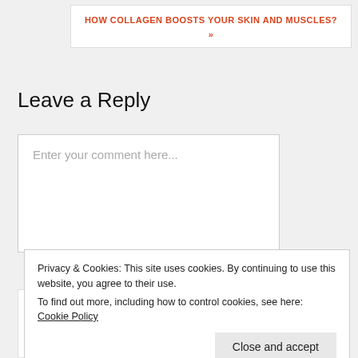HOW COLLAGEN BOOSTS YOUR SKIN AND MUSCLES? »
Leave a Reply
Enter your comment here...
[Figure (illustration): Social media icons: Facebook, LinkedIn, Twitter, Instagram]
Privacy & Cookies: This site uses cookies. By continuing to use this website, you agree to their use.
To find out more, including how to control cookies, see here: Cookie Policy
Close and accept